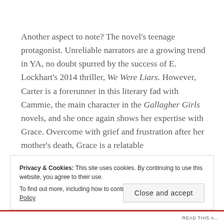Another aspect to note? The novel's teenage protagonist. Unreliable narrators are a growing trend in YA, no doubt spurred by the success of E. Lockhart's 2014 thriller, We Were Liars. However, Carter is a forerunner in this literary fad with Cammie, the main character in the Gallagher Girls novels, and she once again shows her expertise with Grace. Overcome with grief and frustration after her mother's death, Grace is a relatable
Privacy & Cookies: This site uses cookies. By continuing to use this website, you agree to their use.
To find out more, including how to control cookies, see here: Cookie Policy
Close and accept